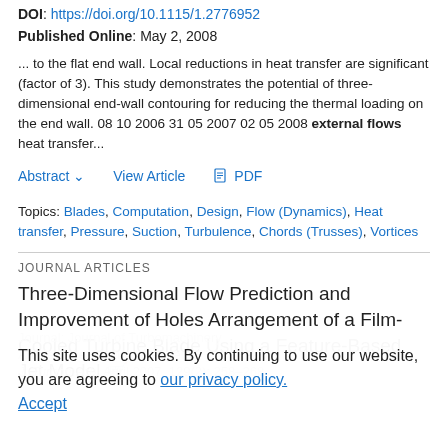DOI: https://doi.org/10.1115/1.2776952
Published Online: May 2, 2008
... to the flat end wall. Local reductions in heat transfer are significant (factor of 3). This study demonstrates the potential of three-dimensional end-wall contouring for reducing the thermal loading on the end wall. 08 10 2006 31 05 2007 02 05 2008 external flows heat transfer...
Abstract ∨
View Article
⬒ PDF
Topics: Blades, Computation, Design, Flow (Dynamics), Heat transfer, Pressure, Suction, Turbulence, Chords (Trusses), Vortices
JOURNAL ARTICLES
Three-Dimensional Flow Prediction and Improvement of Holes Arrangement of a Film-Cooled Turbine Blade Using a Feature-Based Jet Model 🛒
This site uses cookies. By continuing to use our website, you are agreeing to our privacy policy. Accept
Journal: Journal of Turbomachinery
Article Type: Technical Papers
J. Turbomach. April 2007, 129(2): 258–268